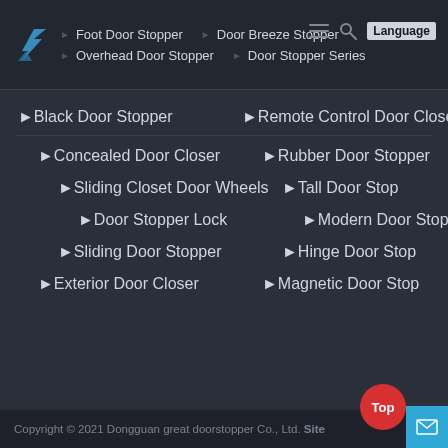Foot Door Stopper | Door Breeze Stopper | Language
Overhead Door Stopper | Door Stopper Series
Black Door Stopper | Remote Control Door Closer
Concealed Door Closer | Rubber Door Stopper
Sliding Closet Door Wheels | Tall Door Stop
Door Stopper Lock | Modern Door Stop
Sliding Door Stopper | Hinge Door Stop
Exterior Door Closer | Magnetic Door Stop
Copyright © 2021 Dongguan great doorstopper Co., Ltd. Site